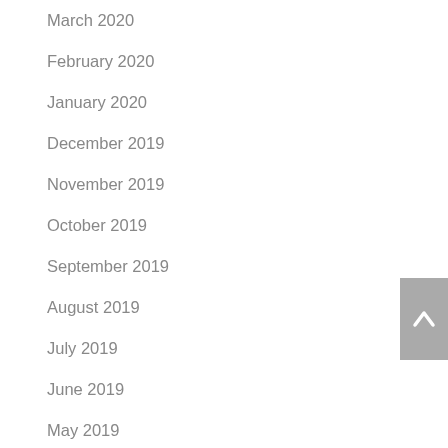March 2020
February 2020
January 2020
December 2019
November 2019
October 2019
September 2019
August 2019
July 2019
June 2019
May 2019
April 2019
March 2019